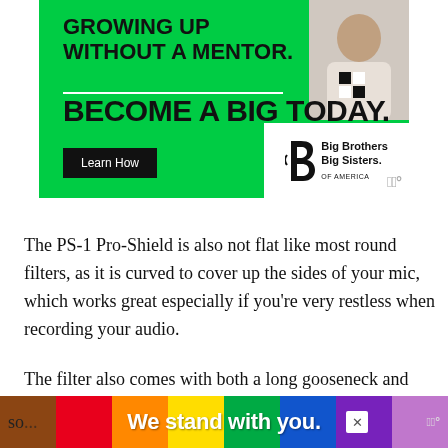[Figure (infographic): Big Brothers Big Sisters of America advertisement. Green background with text 'GROWING UP WITHOUT A MENTOR.' and 'BECOME A BIG TODAY.' with a 'Learn How' button and the BBBS logo. Photo of a child in top right.]
The PS-1 Pro-Shield is also not flat like most round filters, as it is curved to cover up the sides of your mic, which works great especially if you're very restless when recording your audio.
The filter also comes with both a long gooseneck and clamp, allowing you to easily install it on your microphone stand and adjust it at an angle that filters out most of where the so...
[Figure (infographic): Rainbow colored bottom ad bar with text 'We stand with you.' and a close button (X). Wurl watermark on right.]